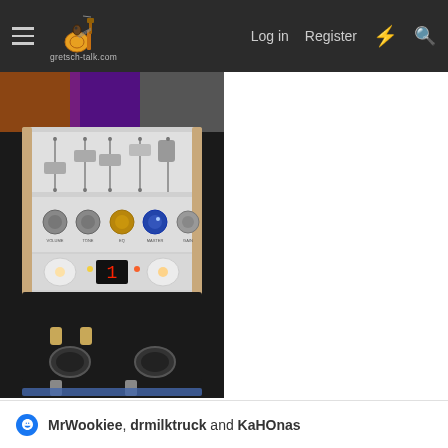gretsch-talk.com  Log in  Register
[Figure (photo): Photo of a guitar effects pedal/equalizer unit with multiple sliders and knobs, sitting on what appears to be an amplifier or pedalboard. The device has a silver/aluminum panel with several faders, rotary knobs, and a red digital display showing '1'. There are stomp switches at the bottom.]
MrWookiee, drmilktruck and KaHOnas